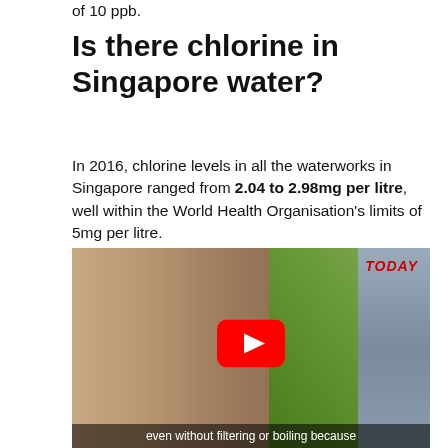of 10 ppb.
Is there chlorine in Singapore water?
In 2016, chlorine levels in all the waterworks in Singapore ranged from 2.04 to 2.98mg per litre, well within the World Health Organisation's limits of 5mg per litre.
[Figure (photo): A woman drinking from a green water bottle. The video thumbnail shows a TODAY news logo in the top right corner and a YouTube play button in the center. At the bottom is a subtitle reading 'even without filtering or boiling because'.]